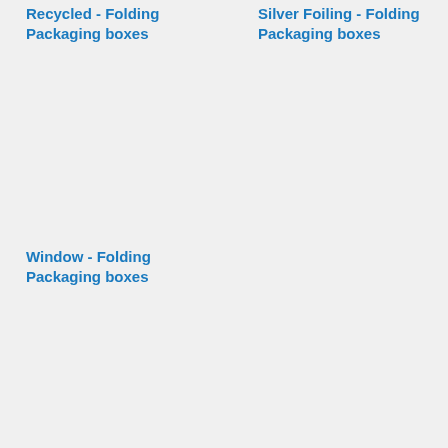Recycled - Folding Packaging boxes
Silver Foiling - Folding Packaging boxes
Window - Folding Packaging boxes